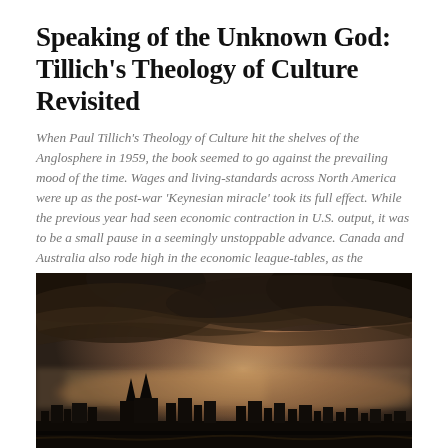Speaking of the Unknown God: Tillich's Theology of Culture Revisited
When Paul Tillich's Theology of Culture hit the shelves of the Anglosphere in 1959, the book seemed to go against the prevailing mood of the time. Wages and living-standards across North America were up as the post-war 'Keynesian miracle' took its full effect. While the previous year had seen economic contraction in U.S. output, it was to be a small pause in a seemingly unstoppable advance. Canada and Australia also rode high in the economic league-tables, as the administrations in Ottawa and Canberra saw conditions of near full-employment.
By Benjamin Wood
May 14, 2015
[Figure (photo): Dramatic stormy sky with dark clouds over a city silhouette, panoramic view with brownish-grey tones and atmospheric lighting]